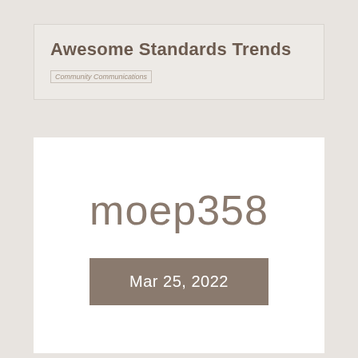Awesome Standards Trends
Community Communications
moep358
Mar 25, 2022